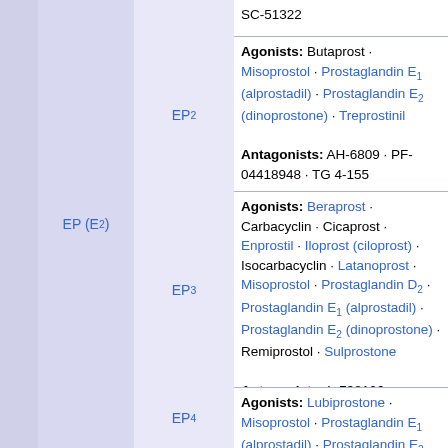|  | EP (E2) | Receptor | Ligands |
| --- | --- | --- | --- |
|  |  | EP2 | Agonists: Butaprost · Misoprostol · Prostaglandin E1 (alprostadil) · Prostaglandin E2 (dinoprostone) · Treprostinil
Antagonists: AH-6809 · PF-04418948 · TG 4-155 |
|  | EP (E2) | EP3 | Agonists: Beraprost · Carbacyclin · Cicaprost · Enprostil · Iloprost (ciloprost) · Isocarbacyclin · Latanoprost · Misoprostol · Prostaglandin D2 · Prostaglandin E1 (alprostadil) · Prostaglandin E2 (dinoprostone) · Remiprostol · Sulprostone
Antagonists: L-798106 |
|  |  | EP4 | Agonists: Lubiprostone · Misoprostol · Prostaglandin E1 (alprostadil) · Prostaglandin E2 (dinoprostone) · TCS-2510
Antagonists: GW-627368 · L- |